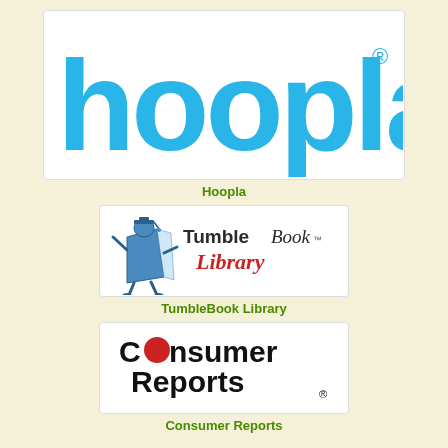[Figure (logo): Hoopla logo — large cyan/sky-blue rounded letters spelling 'hoopla' with a registered trademark symbol, on white background]
Hoopla
[Figure (logo): TumbleBook Library logo — cartoon book character with text 'TumbleBook Library', on white background with rounded rectangle border]
TumbleBook Library
[Figure (logo): Consumer Reports logo — bold black text 'Consumer Reports' with red circle replacing the 'o' in Consumer, registered trademark symbol, on white background]
Consumer Reports